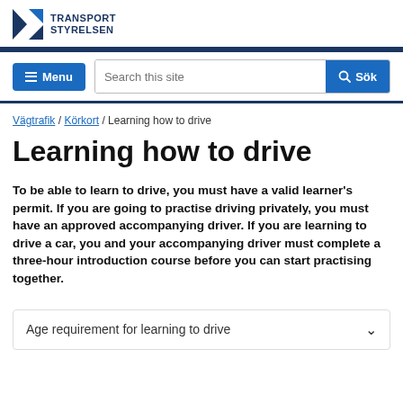[Figure (logo): Transportstyrelsen logo with blue X/arrow icon and text TRANSPORT STYRELSEN]
[Figure (screenshot): Navigation bar with Menu button, Search this site input field, and Sök button]
Vägtrafik / Körkort / Learning how to drive
Learning how to drive
To be able to learn to drive, you must have a valid learner's permit. If you are going to practise driving privately, you must have an approved accompanying driver. If you are learning to drive a car, you and your accompanying driver must complete a three-hour introduction course before you can start practising together.
Age requirement for learning to drive